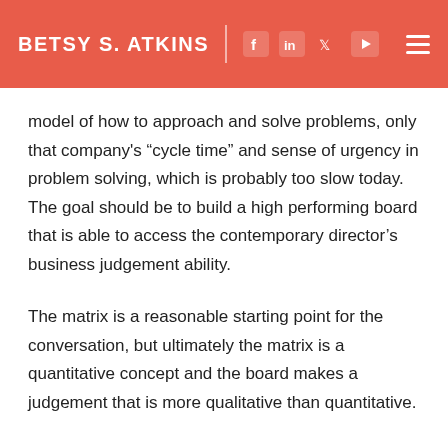BETSY S. ATKINS
model of how to approach and solve problems, only that company's “cycle time” and sense of urgency in problem solving, which is probably too slow today. The goal should be to build a high performing board that is able to access the contemporary director’s business judgement ability.
The matrix is a reasonable starting point for the conversation, but ultimately the matrix is a quantitative concept and the board makes a judgement that is more qualitative than quantitative.